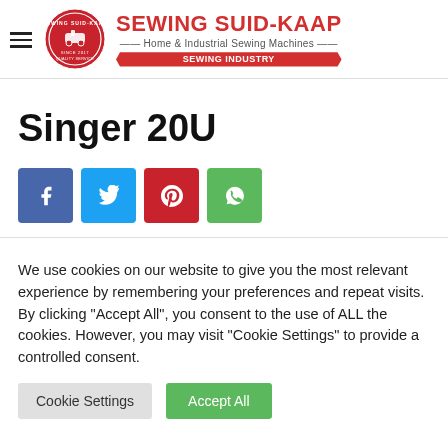Sewing Suid-Kaap — Home & Industrial Sewing Machines — SEWING INDUSTRY
Singer 20U
[Figure (infographic): Four social media share buttons: Facebook (blue), Twitter (cyan), Pinterest (red), WhatsApp (green)]
We use cookies on our website to give you the most relevant experience by remembering your preferences and repeat visits. By clicking "Accept All", you consent to the use of ALL the cookies. However, you may visit "Cookie Settings" to provide a controlled consent.
Cookie Settings | Accept All